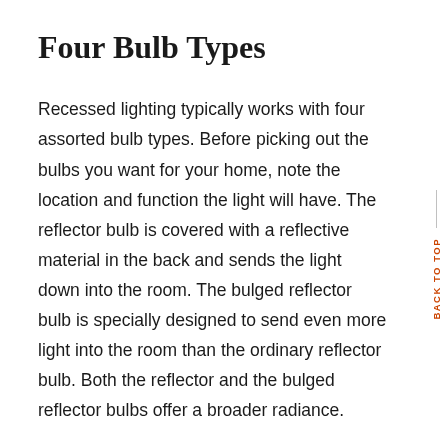Four Bulb Types
Recessed lighting typically works with four assorted bulb types. Before picking out the bulbs you want for your home, note the location and function the light will have. The reflector bulb is covered with a reflective material in the back and sends the light down into the room. The bulged reflector bulb is specially designed to send even more light into the room than the ordinary reflector bulb. Both the reflector and the bulged reflector bulbs offer a broader radiance.
The parabolic aluminized reflector bulb and the multifaceted reflector bulb work great for